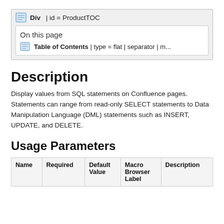[Figure (screenshot): UI element showing Div | id = ProductTOC container with an inner box showing 'On this page' heading and a Table of Contents item with type = flat | separator | m...]
Description
Display values from SQL statements on Confluence pages. Statements can range from read-only SELECT statements to Data Manipulation Language (DML) statements such as INSERT, UPDATE, and DELETE.
Usage Parameters
| Name | Required | Default Value | Macro Browser Label | Description |
| --- | --- | --- | --- | --- |